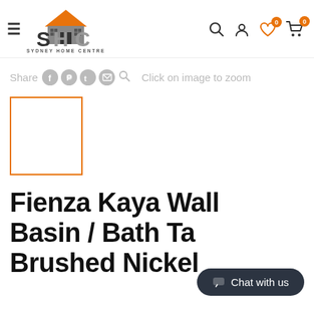Sydney Home Centre — navigation header with logo, hamburger menu, search, account, wishlist (0), cart (0)
Share [social icons] Click on image to zoom
[Figure (other): Orange-bordered thumbnail placeholder box]
Fienza Kaya Wall Basin / Bath Ta... Brushed Nickel
Chat with us